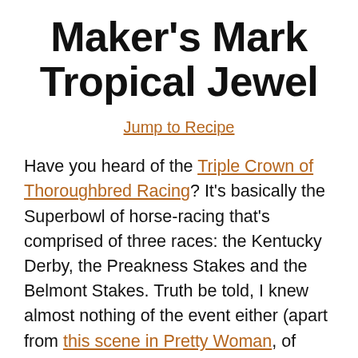Maker's Mark Tropical Jewel
Jump to Recipe
Have you heard of the Triple Crown of Thoroughbred Racing? It's basically the Superbowl of horse-racing that's comprised of three races: the Kentucky Derby, the Preakness Stakes and the Belmont Stakes. Truth be told, I knew almost nothing of the event either (apart from this scene in Pretty Woman, of course) except that the Kentucky Derby involves wearing big hats and sipping on mint juleps. But did you know the other two races have their own